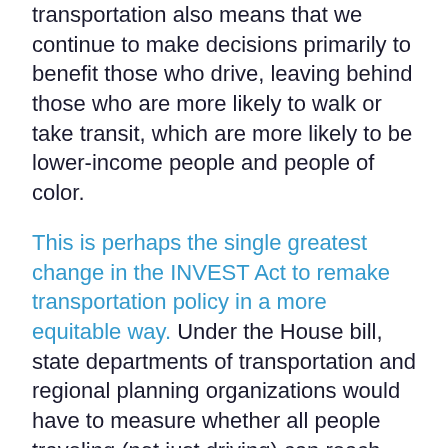transportation also means that we continue to make decisions primarily to benefit those who drive, leaving behind those who are more likely to walk or take transit, which are more likely to be lower-income people and people of color.
This is perhaps the single greatest change in the INVEST Act to remake transportation policy in a more equitable way. Under the House bill, state departments of transportation and regional planning organizations would have to measure whether all people traveling (not just driving) can reach jobs, schools, groceries, medical care, and other necessities. And they will be penalized if they fail to use federal funding to improve that access. This would make a dramatic shift between measuring the system’s “success” for some people traveling by looking at vehicle speed, and starting to better measure the